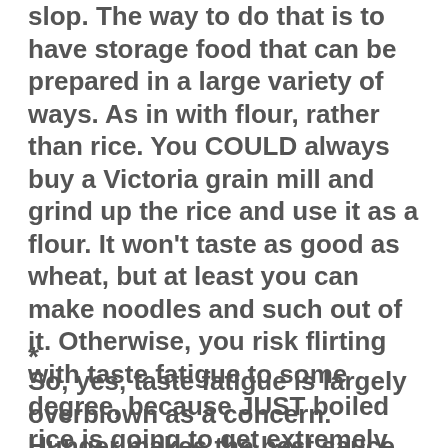slop.  The way to do that is to have storage food that can be prepared in a large variety of ways.  As in with flour, rather than rice.  You COULD always buy a Victoria grain mill and grind up the rice and use it as a flour.  It won't taste as good as wheat, but at least you can make noodles and such out of it.  Otherwise, you risk flirting with taste fatigue to some degree, because JUST boiled rice is going to get extremely old very, very quickly.
*
So, yes, taste fatigue is largely overblown as a concern.  Hunger makes the best sauce, as has been said.  However, you